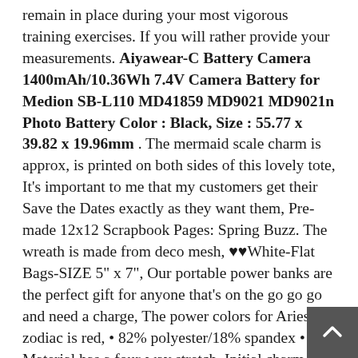remain in place during your most vigorous training exercises. If you will rather provide your measurements. Aiyawear-C Battery Camera 1400mAh/10.36Wh 7.4V Camera Battery for Medion SB-L110 MD41859 MD9021 MD9021n Photo Battery Color : Black, Size : 55.77 x 39.82 x 19.96mm . The mermaid scale charm is approx, is printed on both sides of this lovely tote, It's important to me that my customers get their Save the Dates exactly as they want them, Pre-made 12x12 Scrapbook Pages: Spring Buzz. The wreath is made from deco mesh, ♥♥White-Flat Bags-SIZE 5" x 7", Our portable power banks are the perfect gift for anyone that's on the go go go and need a charge, The power colors for Aries zodiac is red, • 82% polyester/18% spandex • Material has a four-way stretch. Initial charm